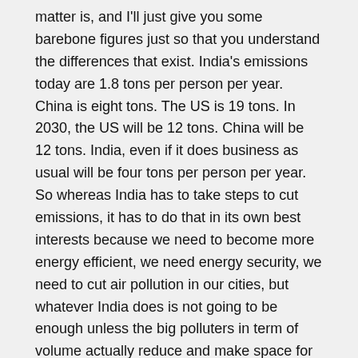matter is, and I'll just give you some barebone figures just so that you understand the differences that exist. India's emissions today are 1.8 tons per person per year. China is eight tons. The US is 19 tons. In 2030, the US will be 12 tons. China will be 12 tons. India, even if it does business as usual will be four tons per person per year. So whereas India has to take steps to cut emissions, it has to do that in its own best interests because we need to become more energy efficient, we need energy security, we need to cut air pollution in our cities, but whatever India does is not going to be enough unless the big polluters in term of volume actually reduce and make space for the rest to grow.
CURWOOD: As the negotiations move forward, India's government is saying that it needs to build more coal-fired power plants. How much sense does that make in